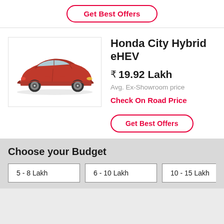[Figure (other): Get Best Offers button (red outline, white background) at top of page]
[Figure (photo): Red Honda City Hybrid eHEV sedan car image in a bordered box]
Honda City Hybrid eHEV
₹ 19.92 Lakh
Avg. Ex-Showroom price
Check On Road Price
[Figure (other): Get Best Offers button (red outline, white background)]
Choose your Budget
5 - 8 Lakh
6 - 10 Lakh
10 - 15 Lakh
10 - 20